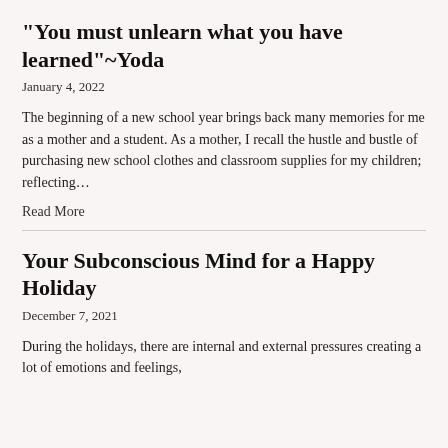“You must unlearn what you have learned”~Yoda
January 4, 2022
The beginning of a new school year brings back many memories for me as a mother and a student.  As a mother, I recall the hustle and bustle of purchasing new school clothes and classroom supplies for my children; reflecting…
Read More
Your Subconscious Mind for a Happy Holiday
December 7, 2021
During the holidays, there are internal and external pressures creating a lot of emotions and feelings,